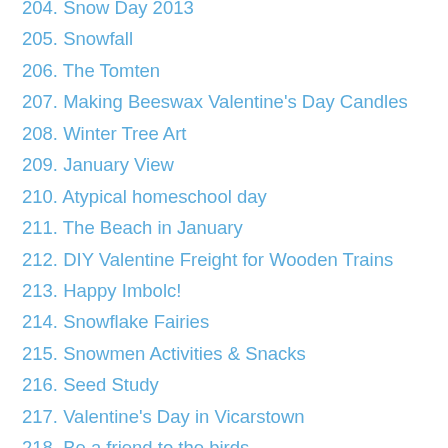204. Snow Day 2013
205. Snowfall
206. The Tomten
207. Making Beeswax Valentine's Day Candles
208. Winter Tree Art
209. January View
210. Atypical homeschool day
211. The Beach in January
212. DIY Valentine Freight for Wooden Trains
213. Happy Imbolc!
214. Snowflake Fairies
215. Snowmen Activities & Snacks
216. Seed Study
217. Valentine's Day in Vicarstown
218. Be a friend to the birds
219. DIY Frost
220. DIY Felt Valentine Train
221. DIY Train Track Valentines
222. Valentine Counting with Thomas
223. DIY Engineer Heart Pendants
224. Priorities: Choose LOVE
225. Abe Hat & Beard